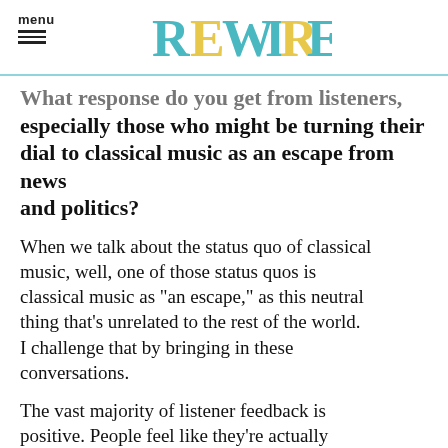menu | REWIRE
What response do you get from listeners, especially those who might be turning their dial to classical music as an escape from news and politics?
When we talk about the status quo of classical music, well, one of those status quos is classical music as "an escape," as this neutral thing that's unrelated to the rest of the world. I challenge that by bringing in these conversations.
The vast majority of listener feedback is positive. People feel like they're actually